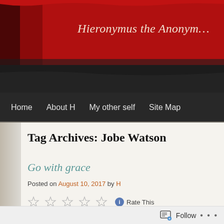[Figure (screenshot): Website header banner with red brushstroke background and italic site title 'Hieronymus the Anonym...']
Hieronymus the Anonym...
Home  About H  My other self  Site Map
Tag Archives: Jobe Watson
Go with grace
Posted on August 10, 2017 by H
Rate This